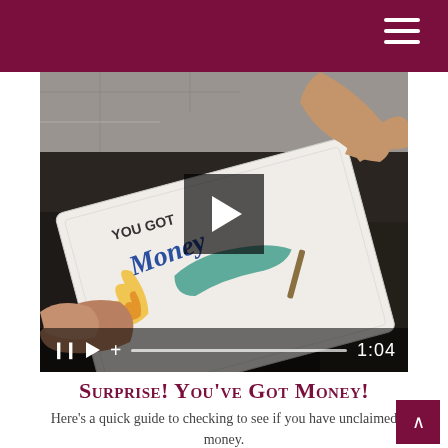[Figure (screenshot): Video player showing a person holding a tablet/paper with colorful artwork and text. Video controls visible at bottom showing pause, play, volume, progress bar, and timestamp 1:04. Large play button overlay in center.]
Surprise! You've Got Money!
Here's a quick guide to checking to see if you have unclaimed money.